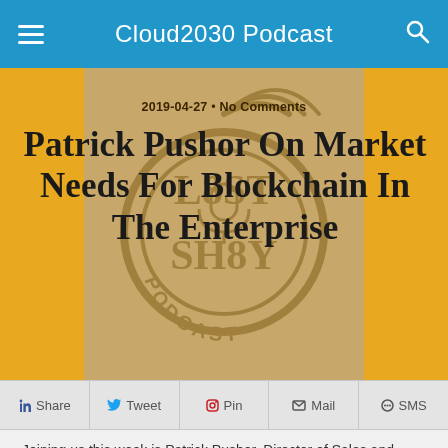Cloud2030 Podcast
[Figure (other): Podcast episode hero banner with gold/amber background and a circular podcast logo overlay reading 'L8ST SH8Y PODCAST'. Center panel is tan/khaki.]
2019-04-27 • No Comments
Patrick Pushor On Market Needs For Blockchain In The Enterprise
Share  Tweet  Pin  Mail  SMS
Joining us this week is Patrick Pushor, Director of Sales and Field Engineering, Clear Blockchain Technologies.
About Clear Blockchain Technologies
Clear builds blockchain-based settlement and clearing networks